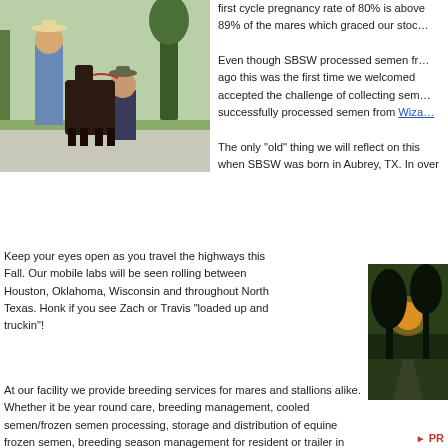[Figure (photo): Two people posing with a small dark horse/foal outdoors on a paved area with trees in background. One person wearing a cowboy hat.]
first cycle pregnancy rate of 80% is above 89% of the mares which graced our stock.
Even though SBSW processed semen from ago this was the first time we welcomed accepted the challenge of collecting sem successfully processed semen from Wiza
The only "old" thing we will reflect on this when SBSW was born in Aubrey, TX. In over 1000 stallions, processed over 14,0 mares, traveled hundreds of thousands o destinations throughout the United State stallion owners include frozen semen in t
Keep your eyes open as you travel the highways this Fall. Our mobile labs will be seen rolling between Houston, Oklahoma, Wisconsin and throughout North Texas. Honk if you see Zach or Travis "loaded up and truckin"!
[Figure (photo): Sunset through trees along a driveway, orange sun visible through tree silhouettes.]
At our facility we provide breeding services for mares and stallions alike. Whether it be year round care, breeding management, cooled semen/frozen semen processing, storage and distribution of equine frozen semen, breeding season management for resident or trailer in stallions we are here to help make your breeding operation a success. We look forward to speaking with you when you call to inquire about our services and fees.
PR